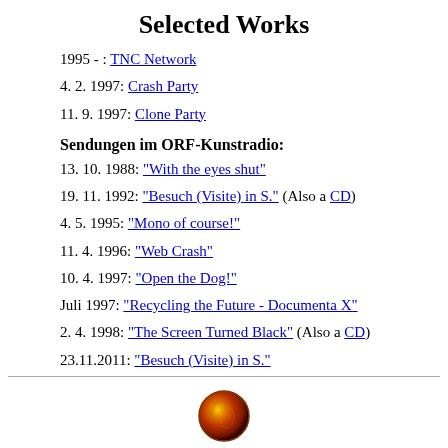Selected Works
1995 - : TNC Network
4. 2. 1997: Crash Party
11. 9. 1997: Clone Party
Sendungen im ORF-Kunstradio:
13. 10. 1988: "With the eyes shut"
19. 11. 1992: "Besuch (Visite) in S." (Also a CD)
4. 5. 1995: "Mono of course!"
11. 4. 1996: "Web Crash"
10. 4. 1997: "Open the Dog!"
Juli 1997: "Recycling the Future - Documenta X"
2. 4. 1998: "The Screen Turned Black" (Also a CD)
23.11.2011: "Besuch (Visite) in S."
[Figure (logo): Round logo with orange/red/yellow radial gradient resembling a lion or sun motif]
BIOGRAPHIES